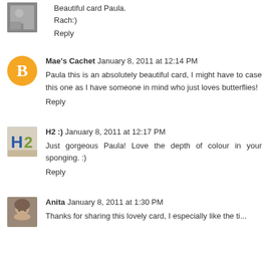Beautiful card Paula.
Rach:)
Reply
Mae's Cachet  January 8, 2011 at 12:14 PM
Paula this is an absolutely beautiful card, I might have to case this one as I have someone in mind who just loves butterflies!
Reply
H2 :)  January 8, 2011 at 12:17 PM
Just gorgeous Paula! Love the depth of colour in your sponging. :)
Reply
Anita  January 8, 2011 at 1:30 PM
Thanks for sharing this lovely card, I especially like the ti...